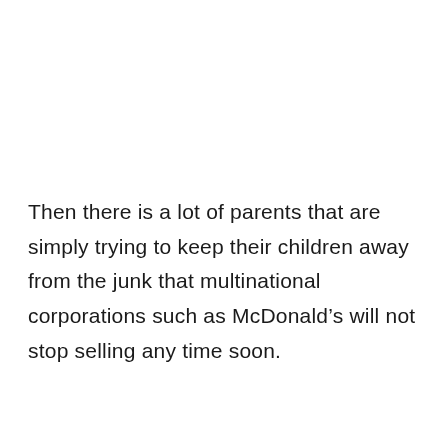Then there is a lot of parents that are simply trying to keep their children away from the junk that multinational corporations such as McDonald's will not stop selling any time soon.